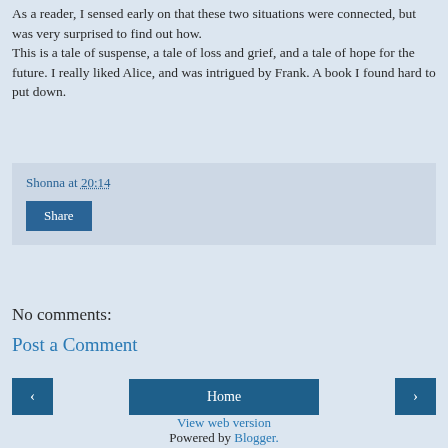As a reader, I sensed early on that these two situations were connected, but was very surprised to find out how. This is a tale of suspense, a tale of loss and grief, and a tale of hope for the future. I really liked Alice, and was intrigued by Frank. A book I found hard to put down.
Shonna at 20:14
Share
No comments:
Post a Comment
‹
Home
›
View web version
Powered by Blogger.